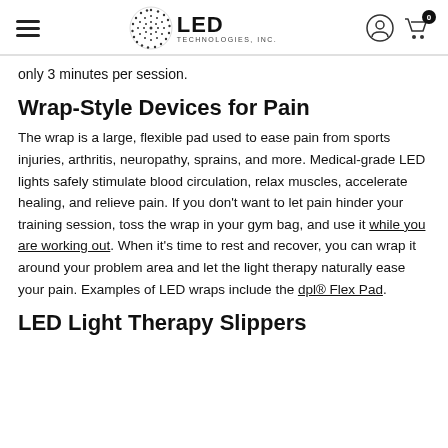LED Technologies, Inc.
only 3 minutes per session.
Wrap-Style Devices for Pain
The wrap is a large, flexible pad used to ease pain from sports injuries, arthritis, neuropathy, sprains, and more. Medical-grade LED lights safely stimulate blood circulation, relax muscles, accelerate healing, and relieve pain. If you don't want to let pain hinder your training session, toss the wrap in your gym bag, and use it while you are working out. When it's time to rest and recover, you can wrap it around your problem area and let the light therapy naturally ease your pain. Examples of LED wraps include the dpl® Flex Pad.
LED Light Therapy Slippers